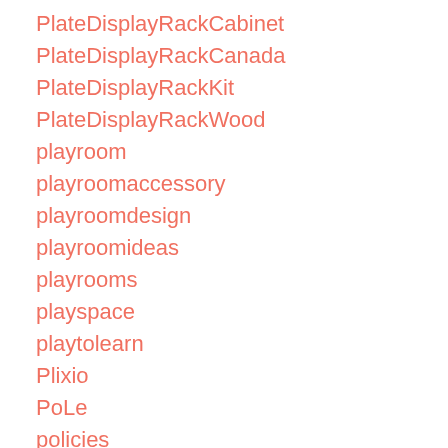PlateDisplayRackCabinet
PlateDisplayRackCanada
PlateDisplayRackKit
PlateDisplayRackWood
playroom
playroomaccessory
playroomdesign
playroomideas
playrooms
playspace
playtolearn
Plixio
PoLe
policies